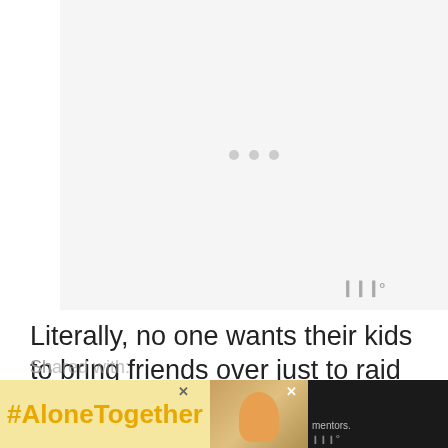[Figure (other): Video or media placeholder with light gray background and three loading dots in the center, with a watermark logo in the lower-right corner]
Literally, no one wants their kids to bring friends over just to raid the fridge, make messes, and add to the loud.
[Figure (other): Advertisement banner with black background. Left section has yellow background with '#AloneTogether' in orange/gold bold text, with a close X button. Middle section shows a partial photo of a woman in kitchen. Right dark section shows partial text 'mentors' and a small logo.]